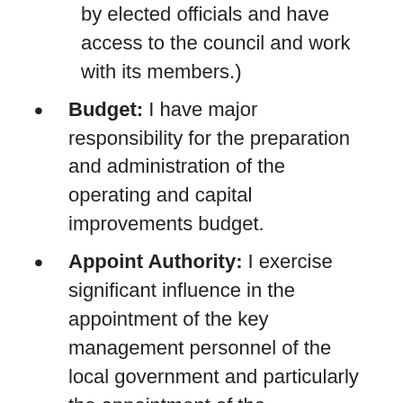by elected officials and have access to the council and work with its members.)
Budget: I have major responsibility for the preparation and administration of the operating and capital improvements budget.
Appoint Authority: I exercise significant influence in the appointment of the key management personnel of the local government and particularly the appointment of the administrative and financial staff. (In other words, I have the authority to recommend